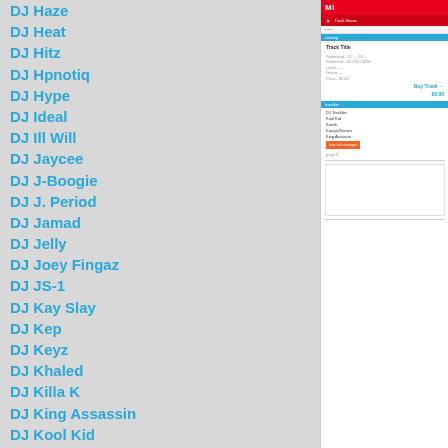DJ Haze, DJ Heat, DJ Hitz, DJ Hpnotiq, DJ Hype, DJ Ideal, DJ Ill Will, DJ Jaycee, DJ J-Boogie, DJ J. Period, DJ Jamad, DJ Jelly, DJ Joey Fingaz, DJ JS-1, DJ Kay Slay, DJ Kep, DJ Keyz, DJ Khaled, DJ Killa K, DJ King Assassin, DJ Kool Kid, DJ Kronik, DJ Kurupt, DJ L, DJ L-Gee, DJ LA Luv, DJ Laz, DJ Lennox, DJ Lex, DJ Love Dinero, DJ LRM, DJ Lu
[Figure (screenshot): Small preview of a webpage with red header, blue navigation bar, document listing with orange button, and white content area below]